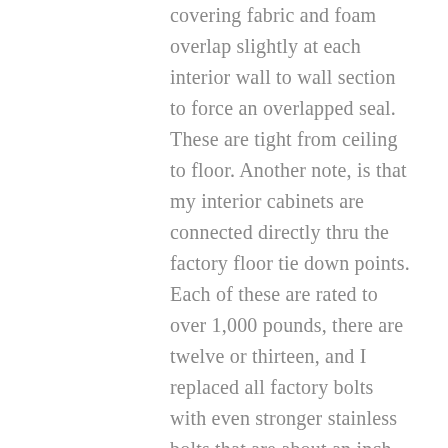covering fabric and foam overlap slightly at each interior wall to wall section to force an overlapped seal. These are tight from ceiling to floor. Another note, is that my interior cabinets are connected directly thru the factory floor tie down points. Each of these are rated to over 1,000 pounds, there are twelve or thirteen, and I replaced all factory bolts with even stronger stainless bolts that are about an inch longer as the frame mounts could accommodate a longer threaded section as well as the added thickness of my floor insulation. These are so strong that my cabinets will not budge and any attempt just rocks the van and not the cabinets. Part of the benefit of metal framed cabinets – again, no wood. Secondly, these bolts have a thermal break and...